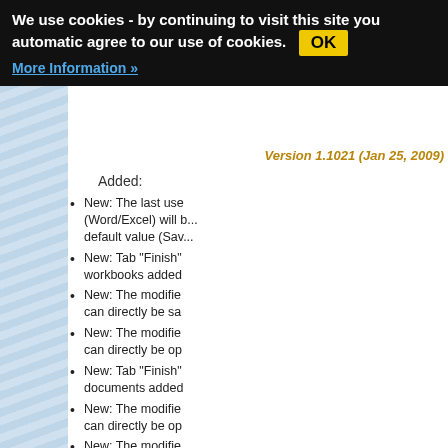We use cookies - by continuing to visit this site you automatic agree to our use of cookies. OK More Information »
Version 1.1021 (Jan 25, 2009)
Added:
New: The last use (Word/Excel) will be default value (Sav...
New: Tab "Finish" workbooks added
New: The modifie can directly be sa
New: The modifie can directly be op
New: Tab "Finish" documents added
New: The modifie can directly be op
New: The modifie can directly be sa
New: Office Menu
Modified: